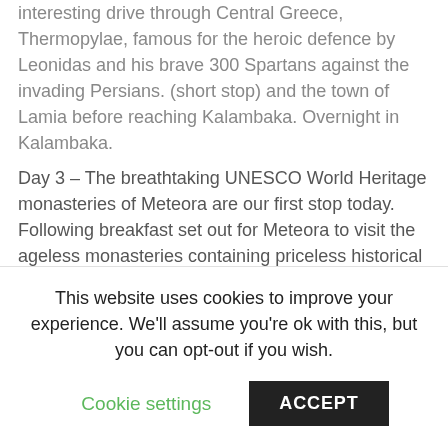interesting drive through Central Greece, Thermopylae, famous for the heroic defence by Leonidas and his brave 300 Spartans against the invading Persians. (short stop) and the town of Lamia before reaching Kalambaka. Overnight in Kalambaka.
Day 3 – The breathtaking UNESCO World Heritage monasteries of Meteora are our first stop today. Following breakfast set out for Meteora to visit the ageless monasteries containing priceless historical and religious treasures, which appear to be suspended in air on top of huge granite rocks. With the professional tour guide visit two of the six
This website uses cookies to improve your experience. We'll assume you're ok with this, but you can opt-out if you wish.
Cookie settings
ACCEPT